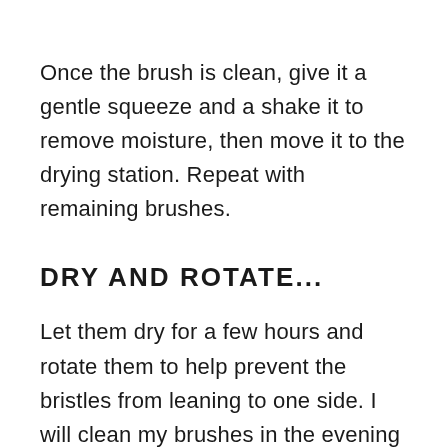Once the brush is clean, give it a gentle squeeze and a shake it to remove moisture, then move it to the drying station. Repeat with remaining brushes.
DRY AND ROTATE...
Let them dry for a few hours and rotate them to help prevent the bristles from leaning to one side. I will clean my brushes in the evening and rotate them a few times before bed. Rotate them the